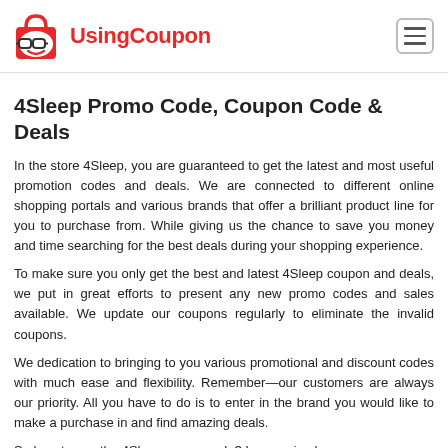UsingCoupon
4Sleep Promo Code, Coupon Code & Deals
In the store 4Sleep, you are guaranteed to get the latest and most useful promotion codes and deals. We are connected to different online shopping portals and various brands that offer a brilliant product line for you to purchase from. While giving us the chance to save you money and time searching for the best deals during your shopping experience.
To make sure you only get the best and latest 4Sleep coupon and deals, we put in great efforts to present any new promo codes and sales available. We update our coupons regularly to eliminate the invalid coupons.
We dedication to bringing to you various promotional and discount codes with much ease and flexibility. Remember—our customers are always our priority. All you have to do is to enter in the brand you would like to make a purchase in and find amazing deals.
So how to use the 4Sleep promo code? Is very simple,